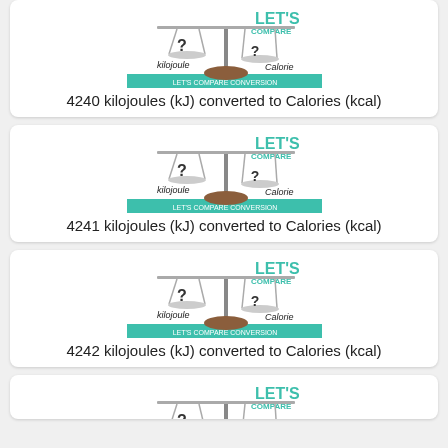[Figure (illustration): Scale balance comparing kilojoule and Calorie with LET'S COMPARE text]
4240 kilojoules (kJ) converted to Calories (kcal)
[Figure (illustration): Scale balance comparing kilojoule and Calorie with LET'S COMPARE text]
4241 kilojoules (kJ) converted to Calories (kcal)
[Figure (illustration): Scale balance comparing kilojoule and Calorie with LET'S COMPARE text]
4242 kilojoules (kJ) converted to Calories (kcal)
[Figure (illustration): Scale balance comparing kilojoule and Calorie with LET'S COMPARE text (partial)]